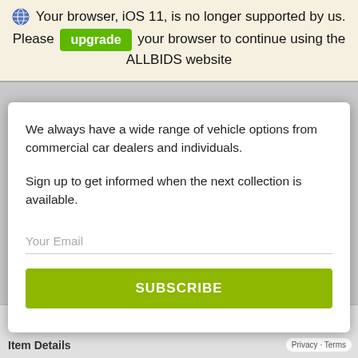🌐 Your browser, iOS 11, is no longer supported by us. Please upgrade your browser to continue using the ALLBIDS website
We always have a wide range of vehicle options from commercial car dealers and individuals.
Sign up to get informed when the next collection is available.
Your Email
SUBSCRIBE
Item Details